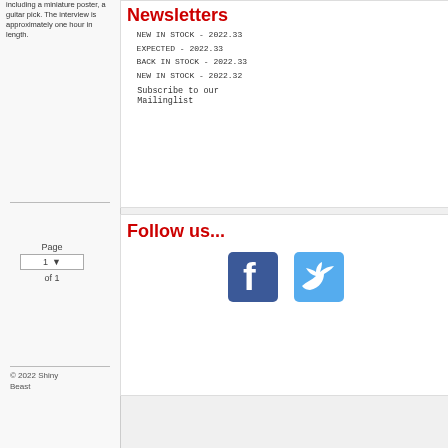including a miniature poster, a guitar pick. The interview is approximately one hour in length.
Newsletters
NEW IN STOCK - 2022.33
EXPECTED - 2022.33
BACK IN STOCK - 2022.33
NEW IN STOCK - 2022.32
Subscribe to our Mailinglist
Page 1 of 1
© 2022 Shiny Beast
Follow us...
[Figure (logo): Facebook and Twitter social media icons]